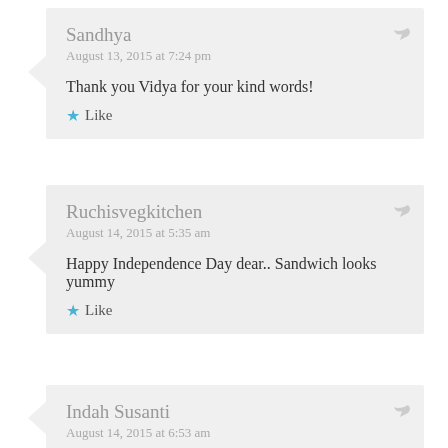Sandhya
August 13, 2015 at 7:24 pm
Thank you Vidya for your kind words!
Like
Ruchisvegkitchen
August 14, 2015 at 5:35 am
Happy Independence Day dear.. Sandwich looks yummy
Like
Indah Susanti
August 14, 2015 at 6:53 am